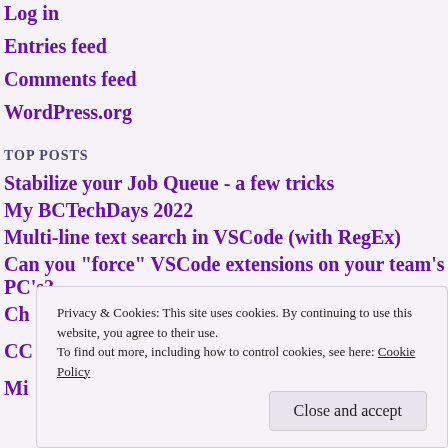Log in
Entries feed
Comments feed
WordPress.org
TOP POSTS
Stabilize your Job Queue - a few tricks
My BCTechDays 2022
Multi-line text search in VSCode (with RegEx)
Can you "force" VSCode extensions on your team's PC's?
Ch…
CC…
Mi…
Privacy & Cookies: This site uses cookies. By continuing to use this website, you agree to their use.
To find out more, including how to control cookies, see here: Cookie Policy
Close and accept